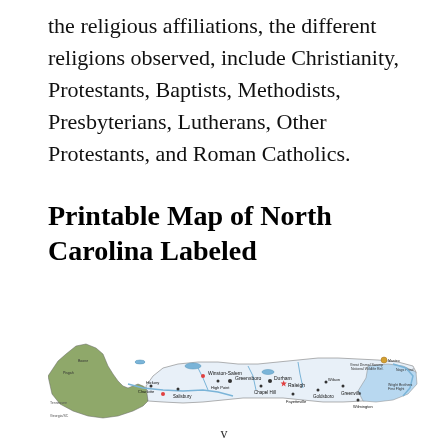the religious affiliations, the different religions observed, include Christianity, Protestants, Baptists, Methodists, Presbyterians, Lutherans, Other Protestants, and Roman Catholics.
Printable Map of North Carolina Labeled
[Figure (map): A labeled map of North Carolina showing cities such as Winston-Salem, Greensboro, Chapel Hill, Durham, Raleigh, Charlotte (Mecklenberg), Hickory, Salisbury, Goldsboro, Greenville, and various geographic features including lakes, rivers, wildlife refuges, and state parks. The western mountain region is shaded in green/olive colors and the coastal region has light blue water areas.]
v